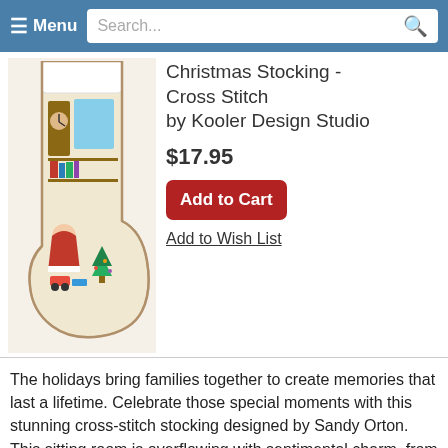Menu | Search...
[Figure (photo): Christmas stocking cross-stitch product photo showing a decorated stocking with Santa, clock, and toys scene]
Christmas Stocking - Cross Stitch by Kooler Design Studio
$17.95
Add to Cart
Add to Wish List
The holidays bring families together to create memories that last a lifetime. Celebrate those special moments with this stunning cross-stitch stocking designed by Sandy Orton. This sitting room is overflowing with sentimental charm, from the traditional clock on the wall to colorful choo choo train ... Read more
[Figure (photo): Vintage Toys cross-stitch pattern product photo showing colorful Christmas toys scene]
Vintage Toys - Cross Stitch Pattern by Lilli Violette